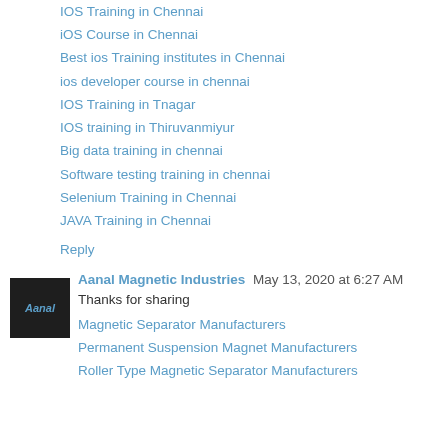IOS Training in Chennai
iOS Course in Chennai
Best ios Training institutes in Chennai
ios developer course in chennai
IOS Training in Tnagar
IOS training in Thiruvanmiyur
Big data training in chennai
Software testing training in chennai
Selenium Training in Chennai
JAVA Training in Chennai
Reply
Aanal Magnetic Industries  May 13, 2020 at 6:27 AM
Thanks for sharing
Magnetic Separator Manufacturers
Permanent Suspension Magnet Manufacturers
Roller Type Magnetic Separator Manufacturers